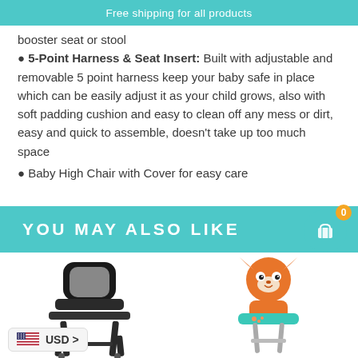Free shipping for all products
booster seat or stool
5-Point Harness & Seat Insert: Built with adjustable and removable 5 point harness keep your baby safe in place which can be easily adjust it as your child grows, also with soft padding cushion and easy to clean off any mess or dirt, easy and quick to assemble, doesn't take up too much space
Baby High Chair with Cover for easy care
YOU MAY ALSO LIKE
[Figure (photo): Black baby high chair with gray seat pad and tray]
[Figure (photo): Orange fox-themed baby high chair with teal tray]